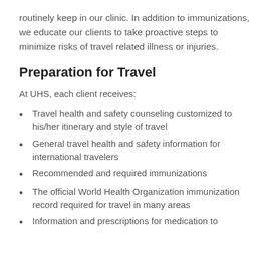routinely keep in our clinic. In addition to immunizations, we educate our clients to take proactive steps to minimize risks of travel related illness or injuries.
Preparation for Travel
At UHS, each client receives:
Travel health and safety counseling customized to his/her itinerary and style of travel
General travel health and safety information for international travelers
Recommended and required immunizations
The official World Health Organization immunization record required for travel in many areas
Information and prescriptions for medication to